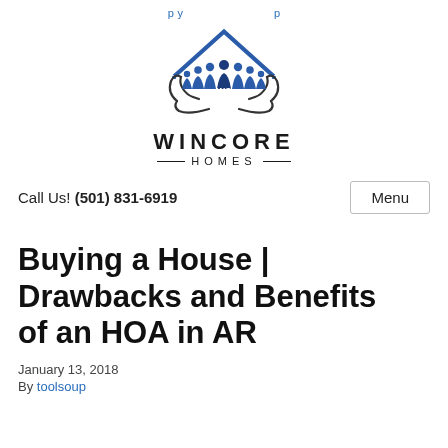Wincore Homes logo and navigation
[Figure (logo): Wincore Homes logo: house outline with group of people silhouettes and two hands cradling them, with WC initials, blue and dark gray colors. Below: WINCORE HOMES text.]
Call Us! (501) 831-6919
Menu
Buying a House | Drawbacks and Benefits of an HOA in AR
January 13, 2018
By toolsoup